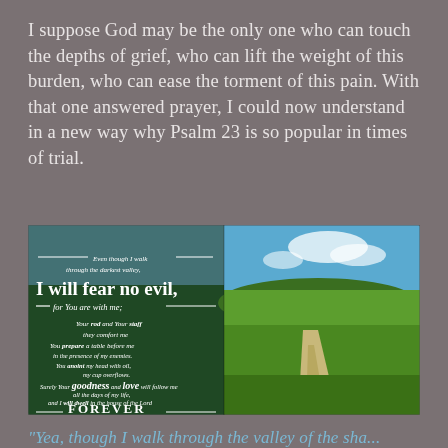I suppose God may be the only one who can touch the depths of grief, who can lift the weight of this burden, who can ease the torment of this pain. With that one answered prayer, I could now understand in a new way why Psalm 23 is so popular in times of trial.
[Figure (photo): A scenic image split in two halves: left half shows a green field with Psalm 23 verse text overlay in white typography (including large text 'I will fear no evil,' and 'FOREVER'), right half shows a country dirt road through a lush green meadow under a blue sky with clouds.]
"Yea, though I walk through the valley of the sha...